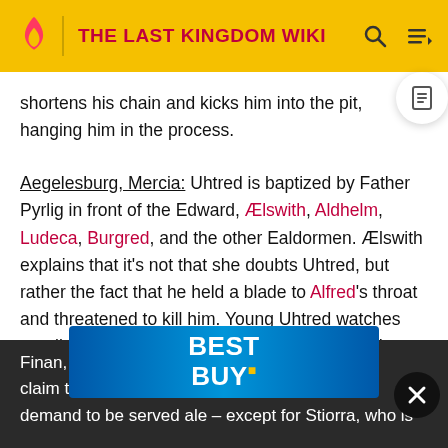THE LAST KINGDOM WIKI
shortens his chain and kicks him into the pit, hanging him in the process.
Aegelesburg, Mercia: Uhtred is baptized by Father Pyrlig in front of the Edward, Ælswith, Aldhelm, Ludeca, Burgred, and the other Ealdormen. Ælswith explains that it's not that she doubts Uhtred, but rather the fact that he held a blade to Alfred's throat and threatened to kill him. Young Uhtred watches angrily before leaving. Pyrlig then calls Edward forward. Uhtred undresses and goes under water to be baptised.
Finan, O[obscured by ad]. They claim t[obscured by ad]rs and demand to be served ale – except for Stiorra, who is
[Figure (infographic): Best Buy advertisement banner overlay with blue gradient background and white bold BEST BUY text with yellow trademark dot]